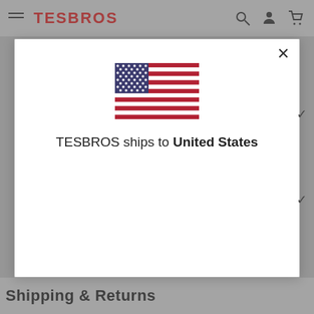TESBROS
[Figure (illustration): United States flag emoji/icon centered in modal dialog]
TESBROS ships to United States
Shipping & Returns